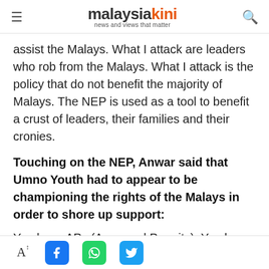malaysiakini — news and views that matter
assist the Malays. What I attack are leaders who rob from the Malays. What I attack is the policy that do not benefit the majority of Malays. The NEP is used as a tool to benefit a crust of leaders, their families and their cronies.
Touching on the NEP, Anwar said that Umno Youth had to appear to be championing the rights of the Malays in order to shore up support:
You have APs (Approved Permits). You have
Font resize, Facebook, WhatsApp, Twitter share buttons